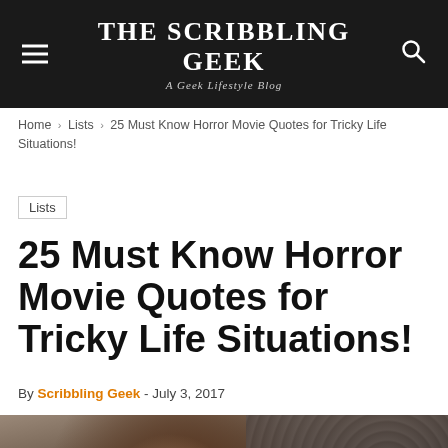THE SCRIBBLING GEEK — A Geek Lifestyle Blog
Home › Lists › 25 Must Know Horror Movie Quotes for Tricky Life Situations!
Lists
25 Must Know Horror Movie Quotes for Tricky Life Situations!
By Scribbling Geek - July 3, 2017
[Figure (photo): Dark moody photograph of a young girl with long hair looking downward, partially visible against a knitted/crocheted fabric background]